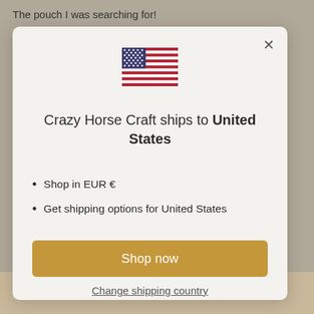The pouch I was searching for!
[Figure (screenshot): Modal dialog on an e-commerce website. Shows a US flag, text 'Crazy Horse Craft ships to United States', bullet points about shopping in EUR and shipping options, a 'Shop now' button, and a 'Change shipping country' link.]
Crazy Horse Craft ships to United States
Shop in EUR €
Get shipping options for United States
Shop now
Change shipping country